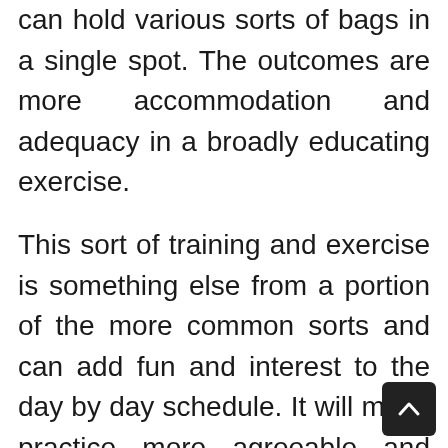can hold various sorts of bags in a single spot. The outcomes are more accommodation and adequacy in a broadly educating exercise.
This sort of training and exercise is something else from a portion of the more common sorts and can add fun and interest to the day by day schedule. It will make practice more agreeable and tone parts of the body that may not in any case get the consideration they need.
These punch bags would make an awesome present for the individuals who wish to stay in shape! The client will have the option to have an extraordinary exercise in the solace of the own home! So that is a valid justification to